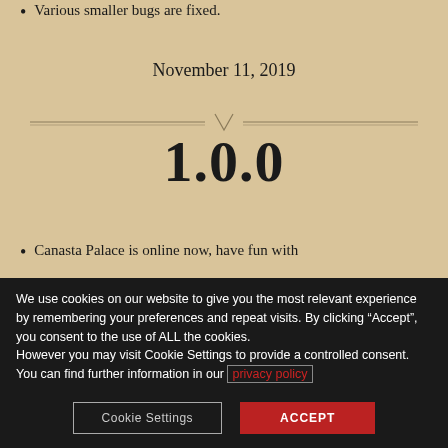Various smaller bugs are fixed.
November 11, 2019
1.0.0
Canasta Palace is online now, have fun with
We use cookies on our website to give you the most relevant experience by remembering your preferences and repeat visits. By clicking “Accept”, you consent to the use of ALL the cookies.
However you may visit Cookie Settings to provide a controlled consent.
You can find further information in our privacy policy
Cookie Settings
ACCEPT